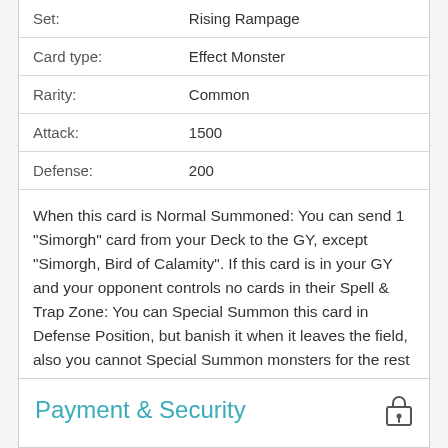| Field | Value |
| --- | --- |
| Set: | Rising Rampage |
| Card type: | Effect Monster |
| Rarity: | Common |
| Attack: | 1500 |
| Defense: | 200 |
When this card is Normal Summoned: You can send 1 "Simorgh" card from your Deck to the GY, except "Simorgh, Bird of Calamity". If this card is in your GY and your opponent controls no cards in their Spell & Trap Zone: You can Special Summon this card in Defense Position, but banish it when it leaves the field, also you cannot Special Summon monsters for the rest of this turn, except Winged Beast monsters. You can only use each effect of "Simorgh, Bird of Calamity" once per turn.
Payment & Security